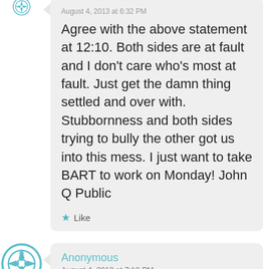August 4, 2013 at 6:32 PM
Agree with the above statement at 12:10. Both sides are at fault and I don't care who's most at fault. Just get the damn thing settled and over with. Stubbornness and both sides trying to bully the other got us into this mess. I just want to take BART to work on Monday! John Q Public
Like
Anonymous
August 4, 2013 at 7:10 PM
Just admit most of the public wants some sort of compromise to avoid a